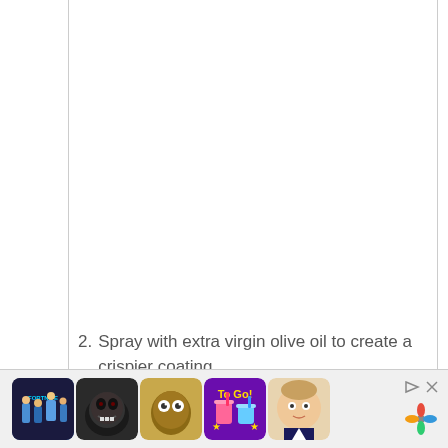2. Spray with extra virgin olive oil to create a crispier coating.
[Figure (photo): A hand holding a glass oil sprayer bottle over a pile of golden curly fries, spraying olive oil on them.]